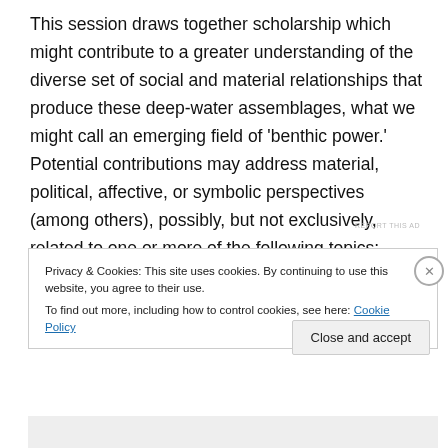This session draws together scholarship which might contribute to a greater understanding of the diverse set of social and material relationships that produce these deep-water assemblages, what we might call an emerging field of 'benthic power.' Potential contributions may address material, political, affective, or symbolic perspectives (among others), possibly, but not exclusively, related to one or more of the following topics:
REPORT THIS AD
Privacy & Cookies: This site uses cookies. By continuing to use this website, you agree to their use.
To find out more, including how to control cookies, see here: Cookie Policy
Close and accept